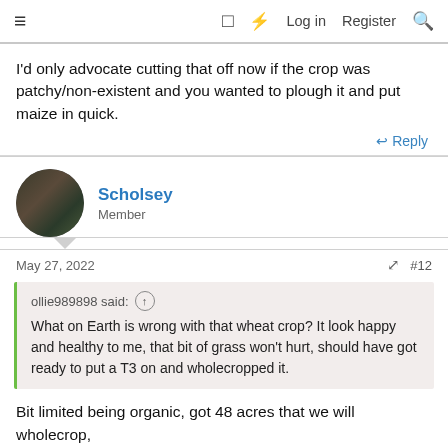≡  □  ⚡  Log in  Register  🔍
I'd only advocate cutting that off now if the crop was patchy/non-existent and you wanted to plough it and put maize in quick.
↩ Reply
Scholsey
Member
May 27, 2022  #12
ollie989898 said: ↑
What on Earth is wrong with that wheat crop? It look happy and healthy to me, that bit of grass won't hurt, should have got ready to put a T3 on and wholecropped it.
Bit limited being organic, got 48 acres that we will wholecrop,